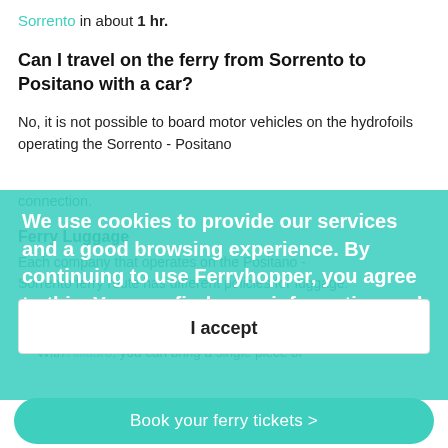Sorrento in about 1 hr.
Can I travel on the ferry from Sorrento to Positano with a car?
No, it is not possible to board motor vehicles on the hydrofoils operating the Sorrento - Positano connection.
Ferry Luggage
Each company that operates on the Positano - Sorrento ferry route has different policies for luggage:
NLG allows suitcases, travel bags and backpacks with maximum dimensions of 50x30x15cm and a weight that must not exceed 5kg.
With Alilauro, you can bring a single piece of
We use cookies to provide our services and a good browsing experience. By continuing to use Ferryhopper, you agree to this. You can find more information and review your cookie settings on this page
I accept
Book your ferry tickets >